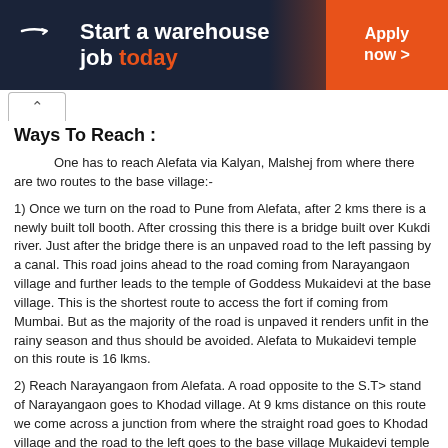[Figure (illustration): Amazon job advertisement banner: dark navy and orange background with Amazon logo (white arrow), text 'Start a warehouse job today' in white and orange, and 'Apply now >' button on right orange panel.]
Ways To Reach :
One has to reach Alefata via Kalyan, Malshej from where there are two routes to the base village:-
1) Once we turn on the road to Pune from Alefata, after 2 kms there is a newly built toll booth. After crossing this there is a bridge built over Kukdi river. Just after the bridge there is an unpaved road to the left passing by a canal. This road joins ahead to the road coming from Narayangaon village and further leads to the temple of Goddess Mukaidevi at the base village. This is the shortest route to access the fort if coming from Mumbai. But as the majority of the road is unpaved it renders unfit in the rainy season and thus should be avoided. Alefata to Mukaidevi temple on this route is 16 lkms.
2) Reach Narayangaon from Alefata. A road opposite to the S.T> stand of Narayangaon goes to Khodad village. At 9 kms distance on this route we come across a junction from where the straight road goes to Khodad village and the road to the left goes to the base village Mukaidevi temple via Gadachiwadi village. Narayangaon to Mukaidevi temple on this route is 10.5 kms. If we get down on the junction by taking a bus from Narayangaon to Khodad, it takes about 30 minutes to reach the base village temple.
Accommodation Facility :